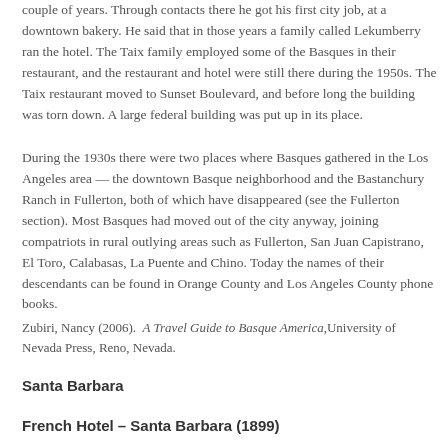couple of years. Through contacts there he got his first city job, at a downtown bakery. He said that in those years a family called Lekumberry ran the hotel. The Taix family employed some of the Basques in their restaurant, and the restaurant and hotel were still there during the 1950s. The Taix restaurant moved to Sunset Boulevard, and before long the building was torn down. A large federal building was put up in its place.
During the 1930s there were two places where Basques gathered in the Los Angeles area — the downtown Basque neighborhood and the Bastanchury Ranch in Fullerton, both of which have disappeared (see the Fullerton section). Most Basques had moved out of the city anyway, joining compatriots in rural outlying areas such as Fullerton, San Juan Capistrano, El Toro, Calabasas, La Puente and Chino. Today the names of their descendants can be found in Orange County and Los Angeles County phone books.
Zubiri, Nancy (2006).  A Travel Guide to Basque America, University of Nevada Press, Reno, Nevada.
Santa Barbara
French Hotel – Santa Barbara (1899)